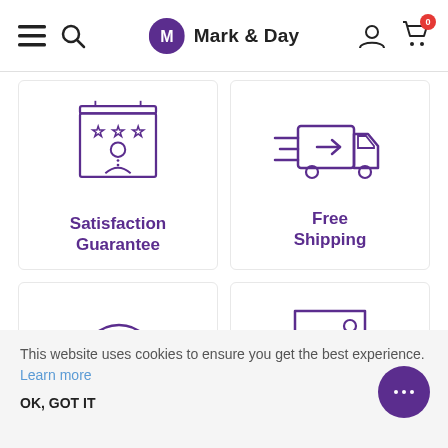Mark & Day
[Figure (illustration): Satisfaction Guarantee icon: a storefront sign with three stars and a person silhouette, drawn in purple outline style]
Satisfaction Guarantee
[Figure (illustration): Free Shipping icon: a delivery truck with speed lines and an arrow, drawn in purple outline style]
Free Shipping
[Figure (illustration): Returns icon: a box with a circular arrow around it, drawn in purple outline style]
[Figure (illustration): Low Price icon: a price tag with a downward arrow, drawn in purple outline style]
This website uses cookies to ensure you get the best experience. Learn more
OK, GOT IT